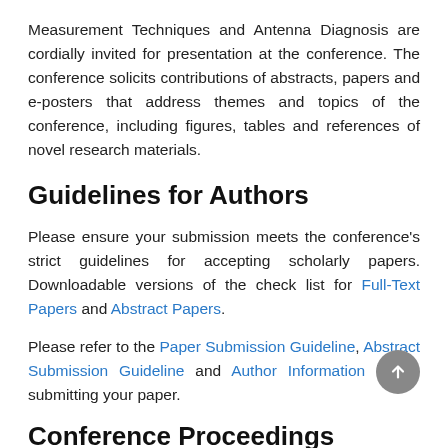Measurement Techniques and Antenna Diagnosis are cordially invited for presentation at the conference. The conference solicits contributions of abstracts, papers and e-posters that address themes and topics of the conference, including figures, tables and references of novel research materials.
Guidelines for Authors
Please ensure your submission meets the conference's strict guidelines for accepting scholarly papers. Downloadable versions of the check list for Full-Text Papers and Abstract Papers.
Please refer to the Paper Submission Guideline, Abstract Submission Guideline and Author Information before submitting your paper.
Conference Proceedings